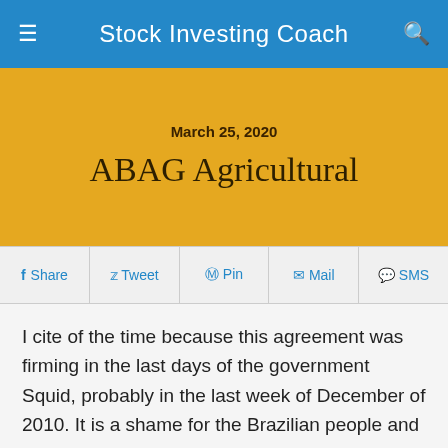Stock Investing Coach
March 25, 2020
ABAG Agricultural
f Share  •  Tweet  •  Pin  •  Mail  •  SMS
I cite of the time because this agreement was firming in the last days of the government Squid, probably in the last week of December of 2010. It is a shame for the Brazilian people and in special for half agricultural if to submit to the international ditames, a time that in remaining this shameful state and of sovereignty lack, we will be passing one certified of incompetence and